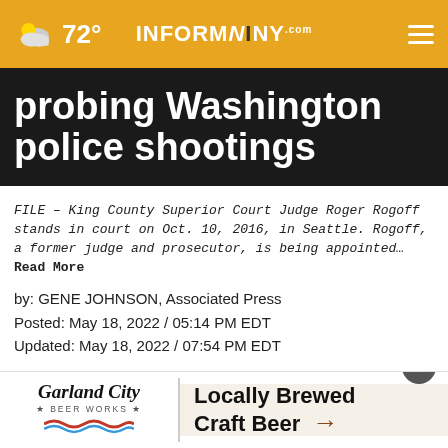72° INFORMNINY.com
probing Washington police shootings
FILE – King County Superior Court Judge Roger Rogoff stands in court on Oct. 10, 2016, in Seattle. Rogoff, a former judge and prosecutor, is being appointed… Read More
by: GENE JOHNSON, Associated Press
Posted: May 18, 2022 / 05:14 PM EDT
Updated: May 18, 2022 / 07:54 PM EDT
SHARE
SEATT… is being appointed to oversee Washington state's new
[Figure (screenshot): Advertisement banner for Garland City Beer Works showing 'Locally Brewed Craft Beer' with arrow]